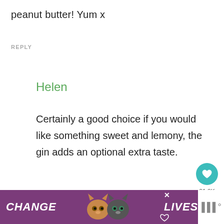peanut butter! Yum x
REPLY
Helen
Certainly a good choice if you would like something sweet and lemony, the gin adds an optional extra taste.
21.8K
REPLY
[Figure (screenshot): Advertisement banner with purple background showing two cats and text CHANGE LIVES with a close button and mute icon]